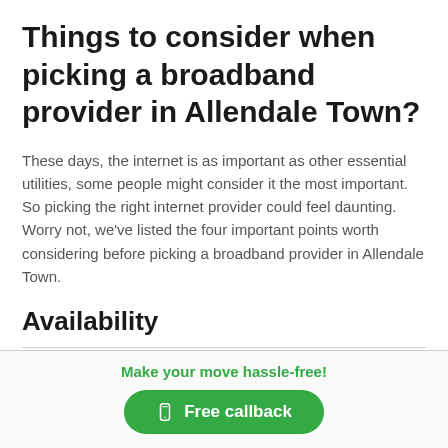Things to consider when picking a broadband provider in Allendale Town?
These days, the internet is as important as other essential utilities, some people might consider it the most important. So picking the right internet provider could feel daunting. Worry not, we've listed the four important points worth considering before picking a broadband provider in Allendale Town.
Availability
Make your move hassle-free!
Free callback